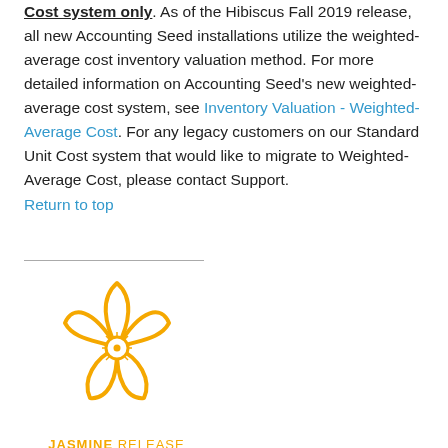Cost system only. As of the Hibiscus Fall 2019 release, all new Accounting Seed installations utilize the weighted-average cost inventory valuation method. For more detailed information on Accounting Seed's new weighted-average cost system, see Inventory Valuation - Weighted-Average Cost. For any legacy customers on our Standard Unit Cost system that would like to migrate to Weighted-Average Cost, please contact Support.
Return to top
[Figure (illustration): Jasmine flower logo in orange outline style with 'JASMINE RELEASE' text below in orange]